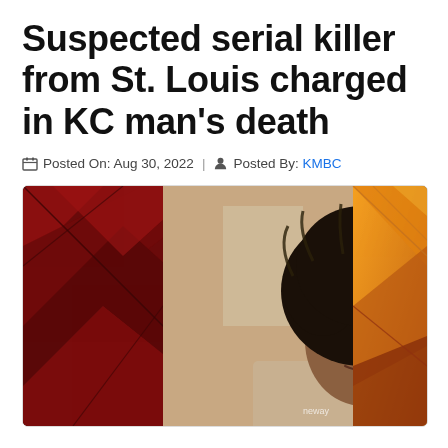Suspected serial killer from St. Louis charged in KC man's death
Posted On: Aug 30, 2022  |  Posted By: KMBC
[Figure (photo): A young Black man with large natural hair styled upward, looking at the camera with a slight smile, wearing a light-colored shirt. The background shows a red graphic design with diamond/triangle patterns on the left side and an orange/gold gradient with similar patterns on the right side, consistent with a TV news broadcast graphic. A small 'neway' watermark appears in the lower center.]